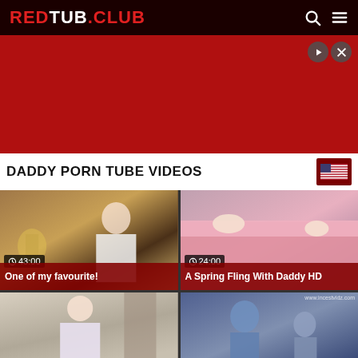REDTUB.CLUB
[Figure (screenshot): Red advertisement banner with close button icons]
DADDY PORN TUBE VIDEOS
[Figure (photo): Video thumbnail: woman in white t-shirt, duration 43:00, title: One of my favourite!]
[Figure (photo): Video thumbnail: people under pink blanket, duration 24:00, title: A Spring Fling With Daddy HD]
[Figure (photo): Video thumbnail: woman in white dress (partial, bottom cut off)]
[Figure (photo): Video thumbnail: animated/cartoon characters, watermark www.incestvidz.com (partial, bottom cut off)]